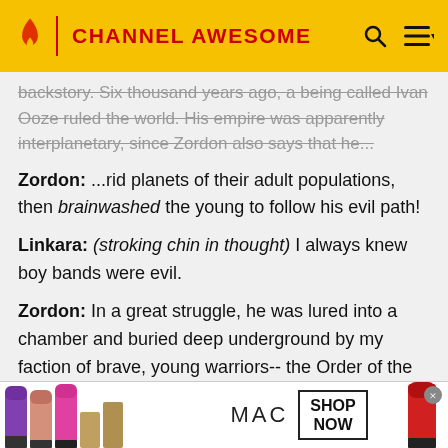CHANNEL AWESOME
backstory. Six thousand years ago, a being called Ivan Ooze ruled the world. His empire was apparently interplanetary, since Zordon also says that he...
Zordon: ...rid planets of their adult populations, then brainwashed the young to follow his evil path!
Linkara: (stroking chin in thought) I always knew boy bands were evil.
Zordon: In a great struggle, he was lured into a chamber and buried deep underground by my faction of brave, young warriors-- the Order of the Meledan.
[Figure (photo): MAC cosmetics advertisement showing colorful lipsticks on the left, MAC logo in center, and a SHOP NOW box on the right]